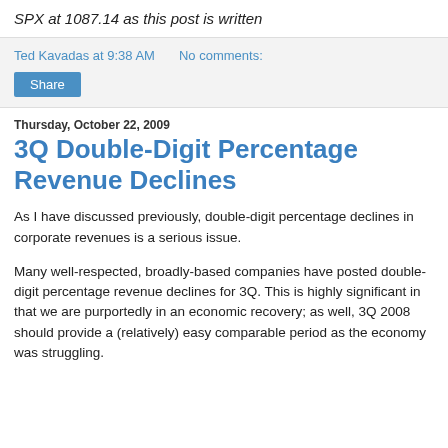SPX at 1087.14 as this post is written
Ted Kavadas at 9:38 AM   No comments:
Share
Thursday, October 22, 2009
3Q Double-Digit Percentage Revenue Declines
As I have discussed previously, double-digit percentage declines in corporate revenues is a serious issue.
Many well-respected, broadly-based companies have posted double-digit percentage revenue declines for 3Q. This is highly significant in that we are purportedly in an economic recovery; as well, 3Q 2008 should provide a (relatively) easy comparable period as the economy was struggling.